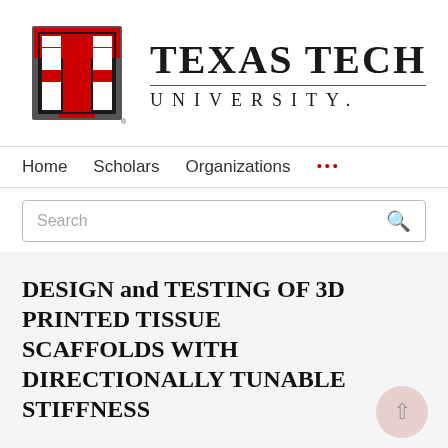[Figure (logo): Texas Tech University logo — double-T in red/black/grey with 'TEXAS TECH' in large serif and 'UNIVERSITY.' spaced below a horizontal rule]
Home   Scholars   Organizations   ...
Search
DESIGN and TESTING OF 3D PRINTED TISSUE SCAFFOLDS WITH DIRECTIONALLY TUNABLE STIFFNESS